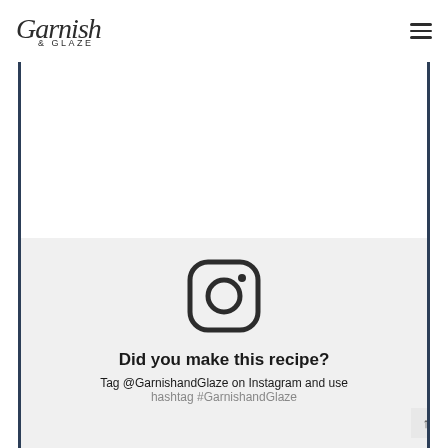Garnish & Glaze
[Figure (illustration): Instagram logo icon — rounded square outline with circle and dot, rendered in dark gray on light gray background]
Did you make this recipe?
Tag @GarnishandGlaze on Instagram and use hashtag #GarnishandGlaze